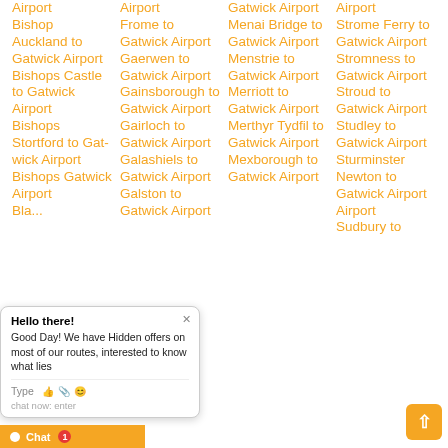Airport Bishop
Auckland to Gatwick Airport
Bishops Castle to Gatwick Airport
Bishops Stortford to Gatwick Airport
Bishops Gatwick Airport
Black... Airport
Airport Frome to Gatwick Airport
Gaerwen to Gatwick Airport
Gainsborough to Gatwick Airport
Gairloch to Gatwick Airport
Galashiels to Gatwick Airport
Galston to Gatwick Airport
Gatwick Airport Menai Bridge to Gatwick Airport
Menstrie to Gatwick Airport
Merriott to Gatwick Airport
Merthyr Tydfil to Gatwick Airport
Mexborough to Gatwick Airport
Airport Strome Ferry to Gatwick Airport
Stromness to Gatwick Airport
Stroud to Gatwick Airport
Studley to Gatwick Airport
Sturminster Newton to Gatwick Airport
Sudbury to Gatwick Airport